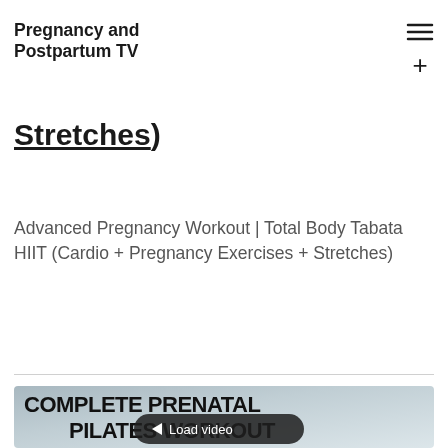Pregnancy and Postpartum TV
Stretches)
Advanced Pregnancy Workout | Total Body Tabata HIIT (Cardio + Pregnancy Exercises + Stretches)
[Figure (screenshot): Video thumbnail showing 'COMPLETE PRENATAL PILATES WORKOUT' text with a woman doing a pilates exercise, and a 'Load video' button overlay]